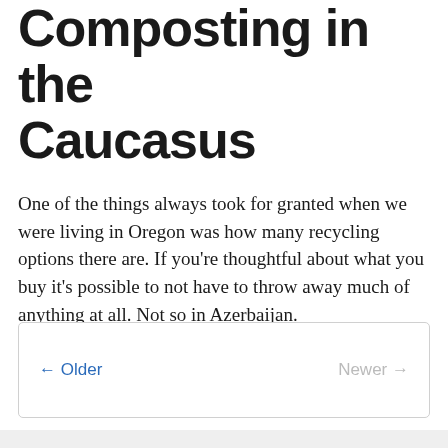Composting in the Caucasus
One of the things always took for granted when we were living in Oregon was how many recycling options there are. If you're thoughtful about what you buy it's possible to not have to throw away much of anything at all. Not so in Azerbaijan.
Read more →
← Older   Newer →